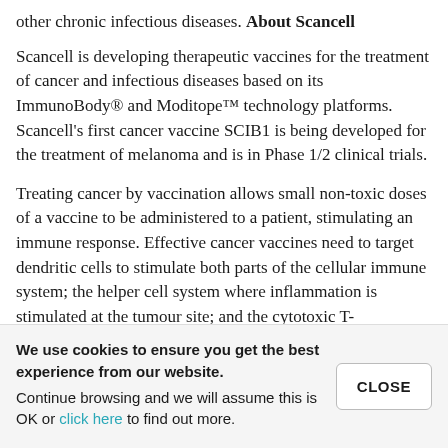other chronic infectious diseases.
About Scancell
Scancell is developing therapeutic vaccines for the treatment of cancer and infectious diseases based on its ImmunoBody® and Moditope™ technology platforms. Scancell's first cancer vaccine SCIB1 is being developed for the treatment of melanoma and is in Phase 1/2 clinical trials.
Treating cancer by vaccination allows small non-toxic doses of a vaccine to be administered to a patient, stimulating an immune response. Effective cancer vaccines need to target dendritic cells to stimulate both parts of the cellular immune system; the helper cell system where inflammation is stimulated at the tumour site; and the cytotoxic T-lymphocyte or CTL response …
We use cookies to ensure you get the best experience from our website. Continue browsing and we will assume this is OK or click here to find out more.